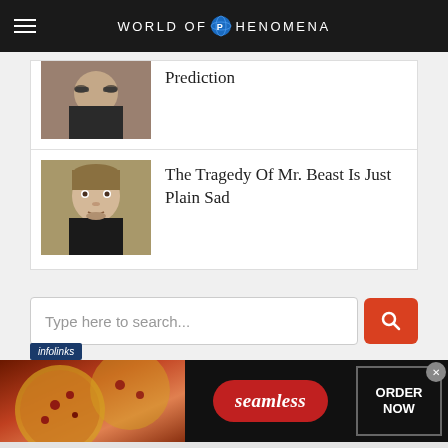World of Phenomena
Prediction
The Tragedy Of Mr. Beast Is Just Plain Sad
[Figure (screenshot): Search bar with placeholder text 'Type here to search...' and a red search button]
[Figure (screenshot): Seamless food delivery advertisement banner with pizza image and 'ORDER NOW' button]